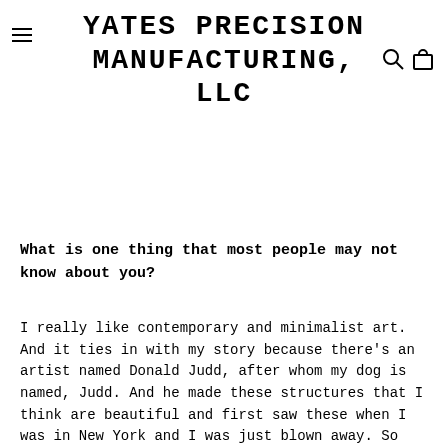YATES PRECISION MANUFACTURING, LLC
What is one thing that most people may not know about you?
I really like contemporary and minimalist art. And it ties in with my story because there's an artist named Donald Judd, after whom my dog is named, Judd. And he made these structures that I think are beautiful and first saw these when I was in New York and I was just blown away. So some of the first things I tried to make back in new York back in 2007-2008 were little fake replicas, or versions of these things and I always have to laugh because there's one in an art exhibit and the label on it mentions that it was baked enamel on aluminum and for months I tried to figure out what is a baked enamel paint and its just a fancy way of saying powder coating. But there was machining...